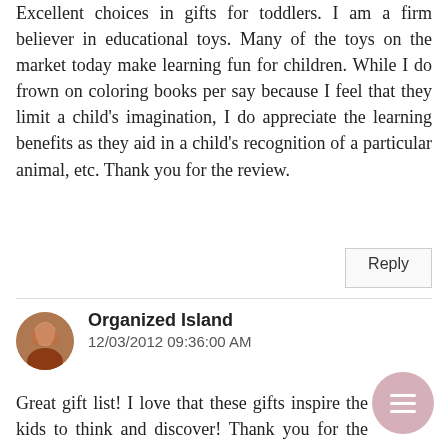Excellent choices in gifts for toddlers. I am a firm believer in educational toys. Many of the toys on the market today make learning fun for children. While I do frown on coloring books per say because I feel that they limit a child's imagination, I do appreciate the learning benefits as they aid in a child's recognition of a particular animal, etc. Thank you for the review.
Reply
Organized Island
12/03/2012 09:36:00 AM
Great gift list! I love that these gifts inspire the kids to think and discover! Thank you for the suggestions!